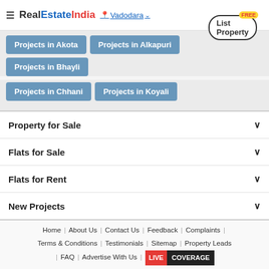RealEstateIndia — Vadodara — List Property (FREE)
Projects in Akota
Projects in Alkapuri
Projects in Bhayli
Projects in Chhani
Projects in Koyali
Property for Sale
Flats for Sale
Flats for Rent
New Projects
Home | About Us | Contact Us | Feedback | Complaints | Terms & Conditions | Testimonials | Sitemap | Property Leads | FAQ | Advertise With Us | LIVE COVERAGE
[Figure (other): Social media icons row: Facebook, Blogger, Pinterest, Twitter, YouTube, Instagram]
Request for a Callback